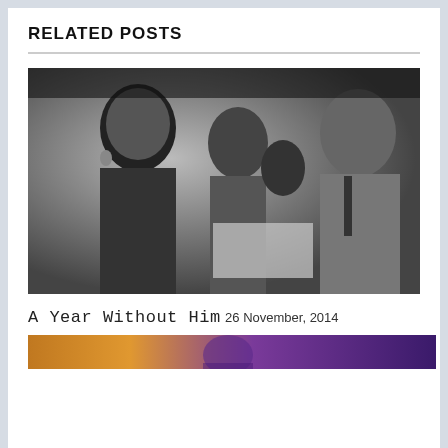RELATED POSTS
[Figure (photo): Black and white photograph of several people, including an elderly man appearing to sign autographs for women who are smiling.]
A Year Without Him
26 November, 2014
[Figure (photo): Partially visible colorful photo at the bottom of the page.]